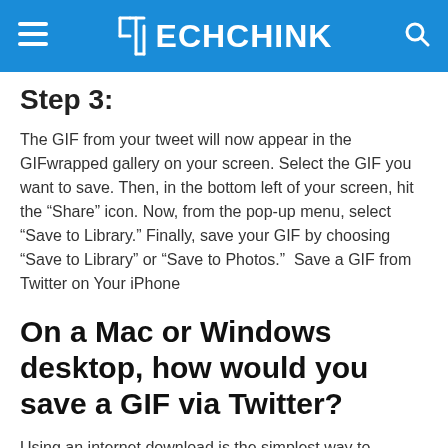TECHCHINK
Step 3:
The GIF from your tweet will now appear in the GIFwrapped gallery on your screen. Select the GIF you want to save. Then, in the bottom left of your screen, hit the “Share” icon. Now, from the pop-up menu, select “Save to Library.” Finally, save your GIF by choosing “Save to Library” or “Save to Photos.”  Save a GIF from Twitter on Your iPhone
On a Mac or Windows desktop, how would you save a GIF via Twitter?
Using an internet download is the simplest way to download and save Twitter GIFs. All you do to a